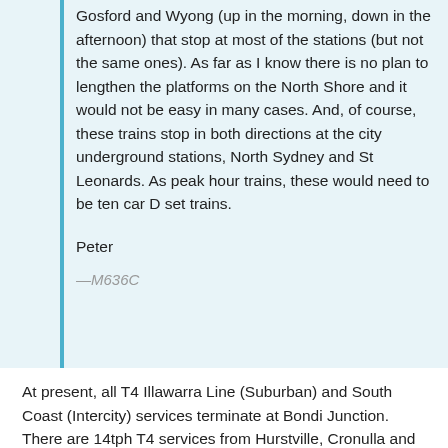Gosford and Wyong (up in the morning, down in the afternoon) that stop at most of the stations (but not the same ones). As far as I know there is no plan to lengthen the platforms on the North Shore and it would not be easy in many cases. And, of course, these trains stop in both directions at the city underground stations, North Sydney and St Leonards. As peak hour trains, these would need to be ten car D set trains.
Peter
— M636C
At present, all T4 Illawarra Line (Suburban) and South Coast (Intercity) services terminate at Bondi Junction.  There are 14tph T4 services from Hurstville, Cronulla and Waterfall and 4tph South Coast (Intercity).
Following the ATP/ATO upgrade, the overall frequency will be increased from 18 to 24tph.  3 of the current 4 SCO Intercity